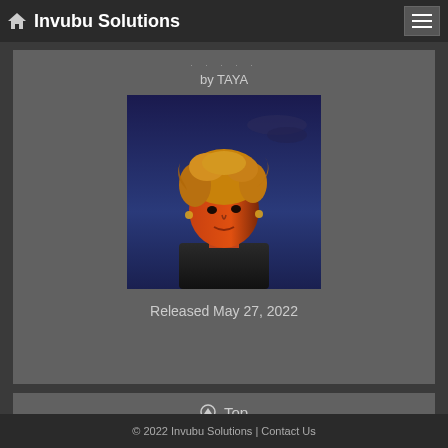Invubu Solutions
by TAYA
[Figure (photo): Artist photo of TAYA — woman with curly blonde hair lit red-orange against a dark blue sky background, wearing a black top, looking upward]
Released May 27, 2022
Top
© 2022 Invubu Solutions | Contact Us